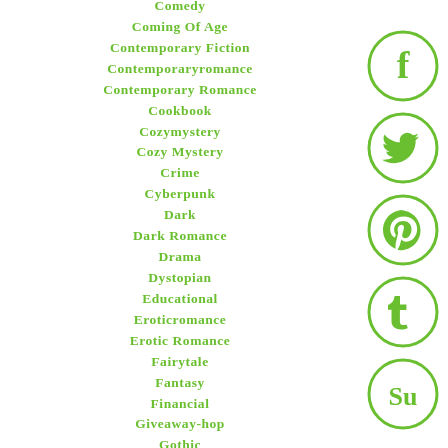Comedy
Coming Of Age
Contemporary Fiction
Contemporaryromance
Contemporary Romance
Cookbook
Cozymystery
Cozy Mystery
Crime
Cyberpunk
Dark
Dark Romance
Drama
Dystopian
Educational
Eroticromance
Erotic Romance
Fairytale
Fantasy
Financial
Giveaway-hop
Gothic
[Figure (illustration): Green circle icons for Facebook, Twitter, Pinterest, Tumblr, and StumbleUpon social media]